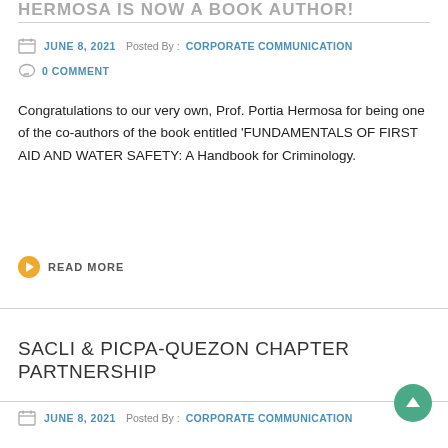HERMOSA IS NOW A BOOK AUTHOR!
JUNE 8, 2021   Posted By : CORPORATE COMMUNICATION
0 COMMENT
Congratulations to our very own, Prof. Portia Hermosa for being one of the co-authors of the book entitled ‘FUNDAMENTALS OF FIRST AID AND WATER SAFETY: A Handbook for Criminology.
READ MORE
SACLI & PICPA-QUEZON CHAPTER PARTNERSHIP
JUNE 8, 2021   Posted By : CORPORATE COMMUNICATION